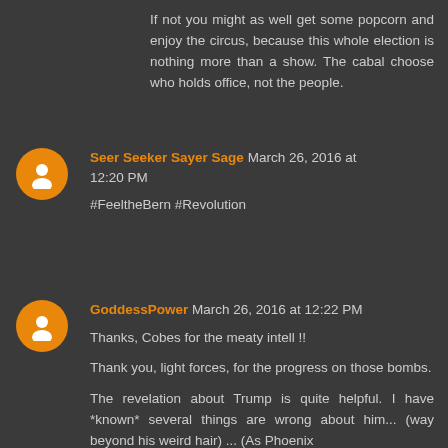If not you might as well get some popcorn and enjoy the circus, because this whole election is nothing more than a show. The cabal choose who holds office, not the people.
Seer Seeker Sayer Sage March 26, 2016 at 12:20 PM
#FeeltheBern #Revolution
GoddessPower March 26, 2016 at 12:22 PM
Thanks, Cobes for the meaty intell !!

Thank you, light forces, for the progress on those bombs.

The revelation about Trump is quite helpful. I have *known* several things are wrong about him... (way beyond his weird hair) ... (As Phoenix